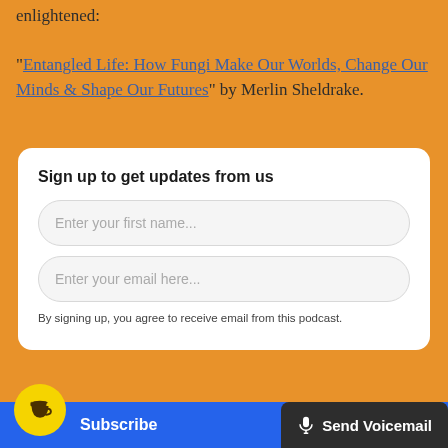enlightened: “Entangled Life: How Fungi Make Our Worlds, Change Our Minds & Shape Our Futures” by Merlin Sheldrake.
Sign up to get updates from us
Enter your first name...
Enter your email here...
By signing up, you agree to receive email from this podcast.
Subscribe
Send Voicemail